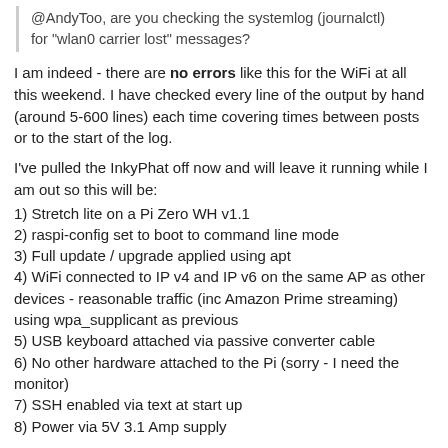@AndyToo, are you checking the systemlog (journalctl) for "wlan0 carrier lost" messages?
I am indeed - there are no errors like this for the WiFi at all this weekend. I have checked every line of the output by hand (around 5-600 lines) each time covering times between posts or to the start of the log.
I've pulled the InkyPhat off now and will leave it running while I am out so this will be:
1) Stretch lite on a Pi Zero WH v1.1
2) raspi-config set to boot to command line mode
3) Full update / upgrade applied using apt
4) WiFi connected to IP v4 and IP v6 on the same AP as other devices - reasonable traffic (inc Amazon Prime streaming) using wpa_supplicant as previous
5) USB keyboard attached via passive converter cable
6) No other hardware attached to the Pi (sorry - I need the monitor)
7) SSH enabled via text at start up
8) Power via 5V 3.1 Amp supply